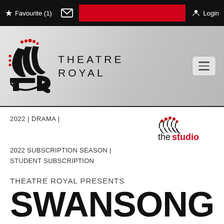Favourite (1)   Login
[Figure (logo): Theatre Royal logo with stylised TR emblem and text THEATRE ROYAL]
2022 | DRAMA |
[Figure (logo): The Studio logo — curved fan/wave icon with red dots and text 'thestudio' in black and red]
2022 SUBSCRIPTION SEASON | STUDENT SUBSCRIPTION
THEATRE ROYAL PRESENTS
SWANSONG